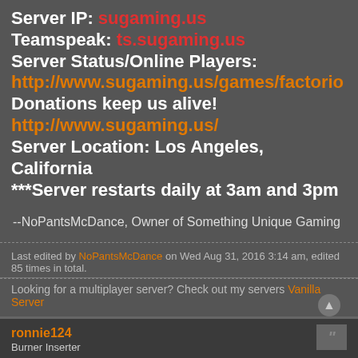Server IP: sugaming.us
Teamspeak: ts.sugaming.us
Server Status/Online Players:
http://www.sugaming.us/games/factorio
Donations keep us alive!
http://www.sugaming.us/
Server Location: Los Angeles, California
***Server restarts daily at 3am and 3pm
--NoPantsMcDance, Owner of Something Unique Gaming
Last edited by NoPantsMcDance on Wed Aug 31, 2016 3:14 am, edited 85 times in total.
Looking for a multiplayer server? Check out my servers Vanilla Server
ronnie124
Burner Inserter